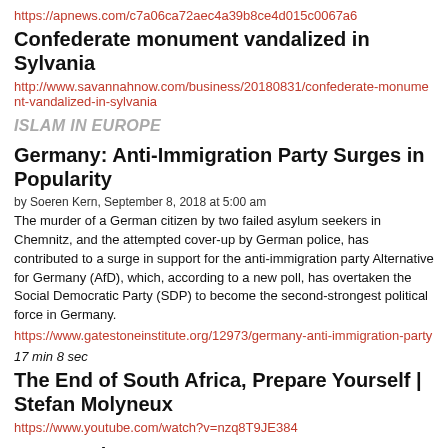https://apnews.com/c7a06ca72aec4a39b8ce4d015c0067a6
Confederate monument vandalized in Sylvania
http://www.savannahnow.com/business/20180831/confederate-monument-vandalized-in-sylvania
ISLAM IN EUROPE
Germany: Anti-Immigration Party Surges in Popularity
by Soeren Kern, September 8, 2018 at 5:00 am
The murder of a German citizen by two failed asylum seekers in Chemnitz, and the attempted cover-up by German police, has contributed to a surge in support for the anti-immigration party Alternative for Germany (AfD), which, according to a new poll, has overtaken the Social Democratic Party (SDP) to become the second-strongest political force in Germany.
https://www.gatestoneinstitute.org/12973/germany-anti-immigration-party
17 min 8 sec
The End of South Africa, Prepare Yourself | Stefan Molyneux
https://www.youtube.com/watch?v=nzq8T9JE384
Restore the USA
http://restoretheusa.net/